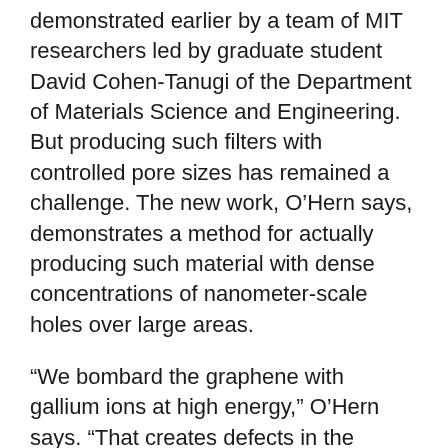demonstrated earlier by a team of MIT researchers led by graduate student David Cohen-Tanugi of the Department of Materials Science and Engineering. But producing such filters with controlled pore sizes has remained a challenge. The new work, O'Hern says, demonstrates a method for actually producing such material with dense concentrations of nanometer-scale holes over large areas.
“We bombard the graphene with gallium ions at high energy,” O’Hern says. “That creates defects in the graphene structure, and these defects are more chemically reactive.” When the material is bathed in a reactive oxidant solution, the oxidant “preferentially attacks the defects,” and etches away many holes of roughly similar size. O’Hern and his co-authors were